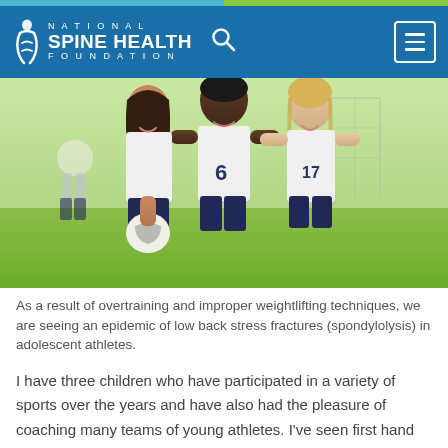NATIONAL SPINE HEALTH FOUNDATION
[Figure (photo): Three female adolescent soccer players smiling and posing together outdoors on a soccer field, one holding a soccer ball, wearing white jerseys numbered 6 and 17. A male player is visible in the background.]
As a result of overtraining and improper weightlifting techniques, we are seeing an epidemic of low back stress fractures (spondylolysis) in adolescent athletes.
I have three children who have participated in a variety of sports over the years and have also had the pleasure of coaching many teams of young athletes. I've seen first hand